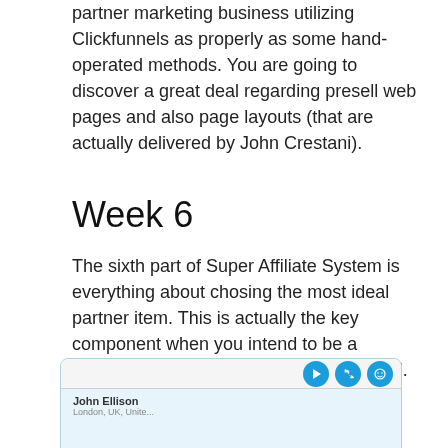partner marketing business utilizing Clickfunnels as properly as some hand-operated methods. You are going to discover a great deal regarding presell web pages and also page layouts (that are actually delivered by John Crestani).
Week 6
The sixth part of Super Affiliate System is everything about chosing the most ideal partner item. This is actually the key component when you intend to be a productive affiliate marketing professional.
[Figure (screenshot): Partial screenshot of a web interface showing social media/contact icons (blue circles with video, phone, and smiley face icons) and a name 'John Ellison' with location text partially visible]